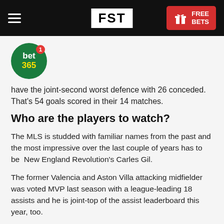FST | FREE BETS
[Figure (logo): bet365 circular logo with green background, white 'bet' text and yellow '365' text, with red notification badge showing '1']
have the joint-second worst defence with 26 conceded. That's 54 goals scored in their 14 matches.
Who are the players to watch?
The MLS is studded with familiar names from the past and the most impressive over the last couple of years has to be  New England Revolution's Carles Gil.
The former Valencia and Aston Villa attacking midfielder was voted MVP last season with a league-leading 18 assists and he is joint-top of the assist leaderboard this year, too.
Another couple of former Premier League players ply their trade in Los Angeles, with Javier Hernandez and